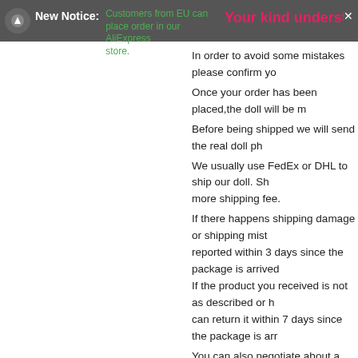New Notice: Customers from EU can place order in our AliExpress store. | Your kind understanding on abo...
In order to avoid some mistakes please confirm yo...
Once your order has been placed,the doll will be m...
Before being shipped we will send the real doll ph...
We usually use FedEx or DHL to ship our doll. Sh... more shipping fee.
If there happens shipping damage or shipping mist... reported within 3 days since the package is arrived...
If the product you received is not as described or h... can return it within 7 days since the package is arr...
You can also negotiate about a refund that you and...
There are some very important inform... order.
http://bjd-shop.com/blog/faq-about-some-impo...
http://bjd-shop.com/blog/faq-for-some-inporta...
Tweet | Share
Write A Review
This pr...